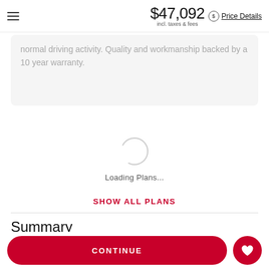$47,092 incl. taxes & fees — Price Details
normal driving activity. Quality and workmanship backed by a 10 year warranty.
[Figure (other): Loading spinner (circular progress indicator) with text 'Loading Plans...' below it]
SHOW ALL PLANS
Summary
CONTINUE